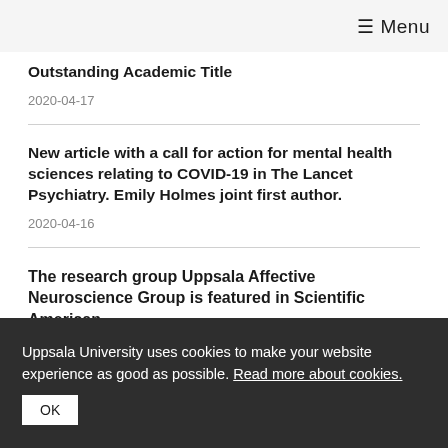≡ Menu
Outstanding Academic Title
2020-04-17
New article with a call for action for mental health sciences relating to COVID-19 in The Lancet Psychiatry. Emily Holmes joint first author.
2020-04-16
The research group Uppsala Affective Neuroscience Group is featured in Scientific American
Uppsala University uses cookies to make your website experience as good as possible. Read more about cookies.
OK